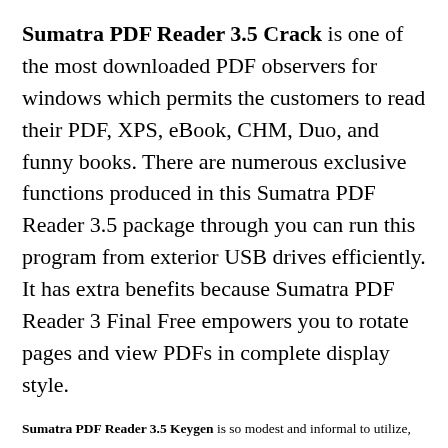Sumatra PDF Reader 3.5 Crack is one of the most downloaded PDF observers for windows which permits the customers to read their PDF, XPS, eBook, CHM, Duo, and funny books. There are numerous exclusive functions produced in this Sumatra PDF Reader 3.5 package through you can run this program from exterior USB drives efficiently. It has extra benefits because Sumatra PDF Reader 3 Final Free empowers you to rotate pages and view PDFs in complete display style.
Sumatra PDF Reader 3.5 Keygen is so modest and informal to utilize, particularly for those people who are not linked with this app and are new; therefore, it will provide complete support due to the simple using method.